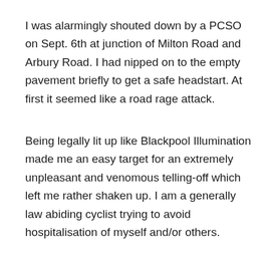I was alarmingly shouted down by a PCSO on Sept. 6th at junction of Milton Road and Arbury Road. I had nipped on to the empty pavement briefly to get a safe headstart. At first it seemed like a road rage attack.
Being legally lit up like Blackpool Illumination made me an easy target for an extremely unpleasant and venomous telling-off which left me rather shaken up. I am a generally law abiding cyclist trying to avoid hospitalisation of myself and/or others.